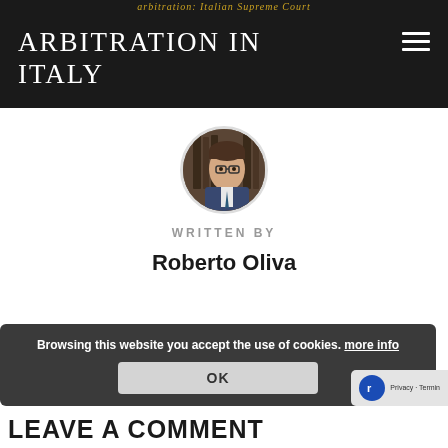arbitration: Italian Supreme Court
ARBITRATION IN ITALY
[Figure (photo): Circular profile photo of Roberto Oliva, a man with glasses wearing a suit and tie, with bookshelves in background]
WRITTEN BY
Roberto Oliva
Browsing this website you accept the use of cookies. more info
OK
LEAVE A COMMENT